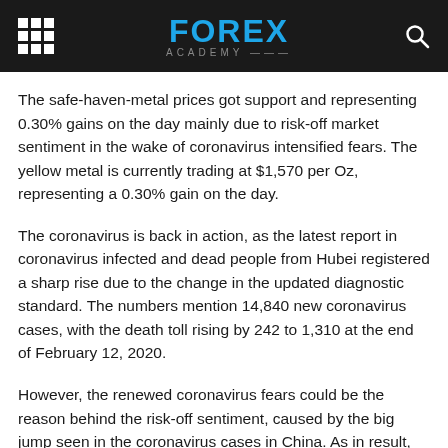FOREX ACADEMY
The safe-haven-metal prices got support and representing 0.30% gains on the day mainly due to risk-off market sentiment in the wake of coronavirus intensified fears. The yellow metal is currently trading at $1,570 per Oz, representing a 0.30% gain on the day.
The coronavirus is back in action, as the latest report in coronavirus infected and dead people from Hubei registered a sharp rise due to the change in the updated diagnostic standard. The numbers mention 14,840 new coronavirus cases, with the death toll rising by 242 to 1,310 at the end of February 12, 2020.
However, the renewed coronavirus fears could be the reason behind the risk-off sentiment, caused by the big jump seen in the coronavirus cases in China. As in result, the futures on the S&P 500 are currently down 0.30%, and so is the price of WTI oil. Japan's Nikkei is also representing a 0.10% drop.